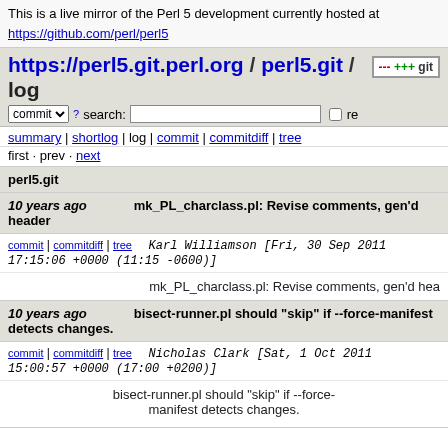This is a live mirror of the Perl 5 development currently hosted at https://github.com/perl/perl5
https://perl5.git.perl.org / perl5.git / log
commit search: re
summary | shortlog | log | commit | commitdiff | tree
first · prev · next
perl5.git
10 years ago   mk_PL_charclass.pl: Revise comments, gen'd header
commit | commitdiff | tree   Karl Williamson [Fri, 30 Sep 2011 17:15:06 +0000 (11:15 -0600)]
mk_PL_charclass.pl: Revise comments, gen'd hea
10 years ago   bisect-runner.pl should "skip" if --force-manifest detects changes.
commit | commitdiff | tree   Nicholas Clark [Sat, 1 Oct 2011 15:00:57 +0000 (17:00 +0200)]
bisect-runner.pl should "skip" if --force-manifest detects changes.